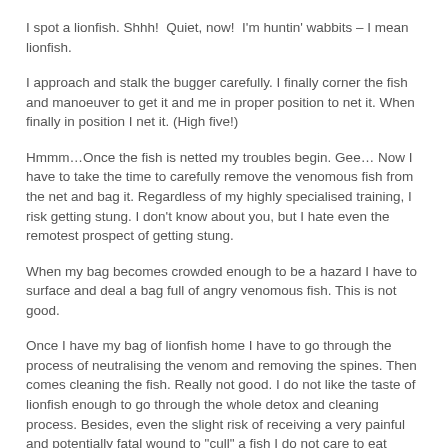I spot a lionfish. Shhh!  Quiet, now!  I'm huntin' wabbits – I mean lionfish.
I approach and stalk the bugger carefully. I finally corner the fish and manoeuver to get it and me in proper position to net it. When finally in position I net it. (High five!)
Hmmm…Once the fish is netted my troubles begin. Gee… Now I have to take the time to carefully remove the venomous fish from the net and bag it. Regardless of my highly specialised training, I risk getting stung. I don't know about you, but I hate even the remotest prospect of getting stung.
When my bag becomes crowded enough to be a hazard I have to surface and deal a bag full of angry venomous fish. This is not good.
Once I have my bag of lionfish home I have to go through the process of neutralising the venom and removing the spines. Then comes cleaning the fish. Really not good. I do not like the taste of lionfish enough to go through the whole detox and cleaning process. Besides, even the slight risk of receiving a very painful and potentially fatal wound to "cull" a fish I do not care to eat makes it totally not worth my time and is no fun for me.
So when I see a lionfish I just wave and give him lots of leeway and we part ways with no one getting hurt. (Lionfish-1, Humans-0). Which is what the present dumb and dumber DOE policy encourages – apathy and the fewest number of "cullers" possible. No damn wonder the lionfish are